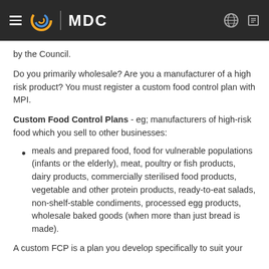MDC
by the Council.
Do you primarily wholesale? Are you a manufacturer of a high risk product? You must register a custom food control plan with MPI.
Custom Food Control Plans - eg; manufacturers of high-risk food which you sell to other businesses:
meals and prepared food, food for vulnerable populations (infants or the elderly), meat, poultry or fish products, dairy products, commercially sterilised food products, vegetable and other protein products, ready-to-eat salads, non-shelf-stable condiments, processed egg products, wholesale baked goods (when more than just bread is made).
A custom FCP is a plan you develop specifically to suit your